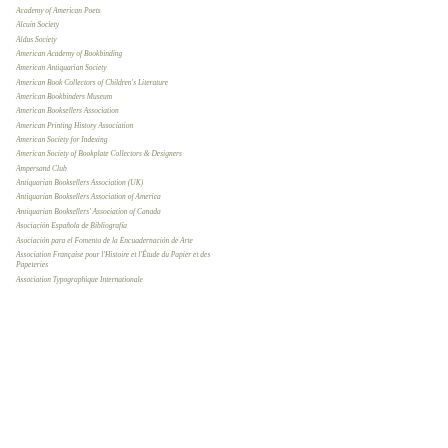Academy of American Poets
Alcuin Society
Aldus Society
American Academy of Bookbinding
American Antiquarian Society
American Book Collectors of Children's Literature
American Bookbinders Museum
American Booksellers Association
American Printing History Association
American Society for Indexing
American Society of Bookplate Collectors & Designers
Ampersand Club
Antiquarian Booksellers Association (UK)
Antiquarian Booksellers Association of America
Antiquarian Booksellers' Association of Canada
Asociación Española de Bibliografía
Asociación para el Fomento de la Encuadernación de Arte
Association Française pour l'Histoire et l'Étude du Papier et des Papeteries
Association Typographique Internationale